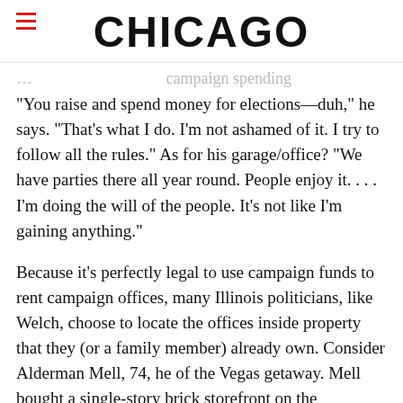CHICAGO
"You raise and spend money for elections—duh," he says. "That's what I do. I'm not ashamed of it. I try to follow all the rules." As for his garage/office? "We have parties there all year round. People enjoy it. . . . I'm doing the will of the people. It's not like I'm gaining anything."
Because it's perfectly legal to use campaign funds to rent campaign offices, many Illinois politicians, like Welch, choose to locate the offices inside property that they (or a family member) already own. Consider Alderman Mell, 74, he of the Vegas getaway. Mell bought a single-story brick storefront on the Northwest Side for $210,000 in 1996,